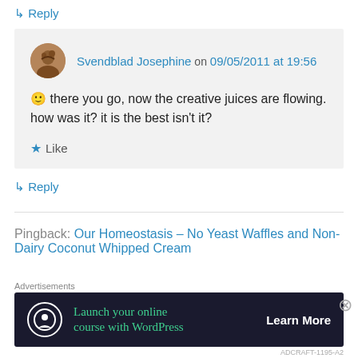↳ Reply
Svendblad Josephine on 09/05/2011 at 19:56
🙂 there you go, now the creative juices are flowing. how was it? it is the best isn't it?
★ Like
↳ Reply
Pingback: Our Homeostasis – No Yeast Waffles and Non-Dairy Coconut Whipped Cream
[Figure (screenshot): Advertisement banner: 'Launch your online course with WordPress' with Learn More button on dark background]